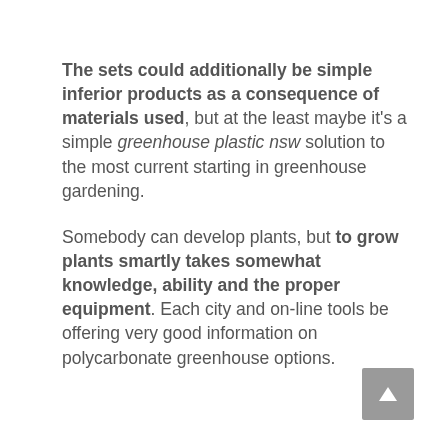The sets could additionally be simple inferior products as a consequence of materials used, but at the least maybe it's a simple greenhouse plastic nsw solution to the most current starting in greenhouse gardening.
Somebody can develop plants, but to grow plants smartly takes somewhat knowledge, ability and the proper equipment. Each city and on-line tools be offering very good information on polycarbonate greenhouse options.